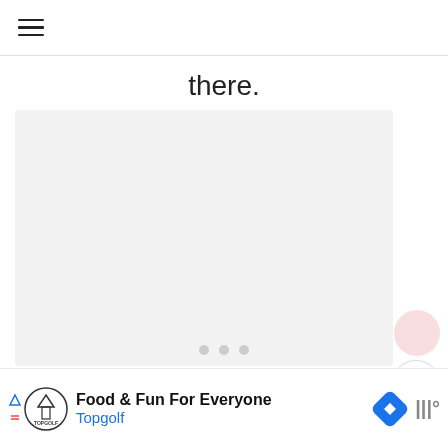≡ (hamburger menu icon)
there.
[Figure (photo): Light gray rectangular placeholder image area]
[Figure (other): Three gray dots (carousel indicator)]
[Figure (other): Pink circular button (top right)]
7
Food & Fun For Everyone  Topgolf  [navigation icon]  [weather icon]